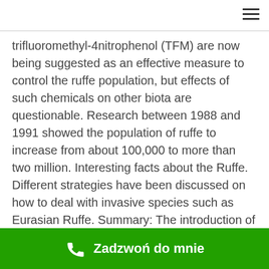trifluoromethyl-4nitrophenol (TFM) are now being suggested as an effective measure to control the ruffe population, but effects of such chemicals on other biota are questionable. Research between 1988 and 1991 showed the population of ruffe to increase from about 100,000 to more than two million. Interesting facts about the Ruffe. Different strategies have been discussed on how to deal with invasive species such as Eurasian Ruffe. Summary: The introduction of the ruffe ( Gymnocephalus cernuus ) into Loch Lomond, Scotland in 1982 and the subsequent expansion of the population are discussed. This sh is native to Europe and Asia. Scottish Record: The Fish. DiscussionBullheads and northern pike probably exerted
Zadzwoń do mnie